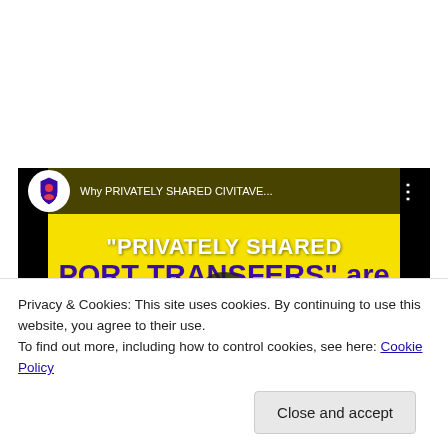[Figure (screenshot): YouTube video thumbnail showing 'PRIVATELY SHARED PORT TRANSFERS are better than Shuttle Services - with Stefano's RomaCabs'. Yellow background with dark purple bold text. A play button is centered over the thumbnail. A top bar shows the channel logo and truncated video title.]
Privacy & Cookies: This site uses cookies. By continuing to use this website, you agree to their use.
To find out more, including how to control cookies, see here: Cookie Policy
Close and accept